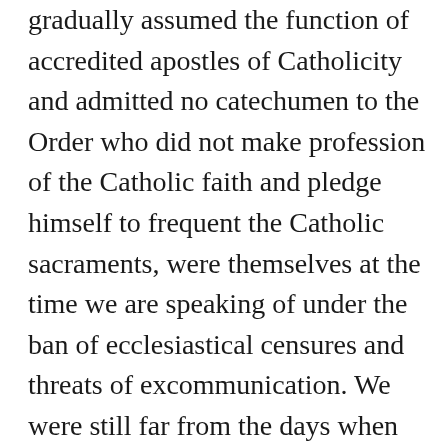gradually assumed the function of accredited apostles of Catholicity and admitted no catechumen to the Order who did not make profession of the Catholic faith and pledge himself to frequent the Catholic sacraments, were themselves at the time we are speaking of under the ban of ecclesiastical censures and threats of excommunication. We were still far from the days when the Board of Erin erected far and wide a self-styled Catholic ascendancy which did more than all other causes to work up Protestant Ulster into an irreconcileable aversion to Home Rule. Nor did "the extreme men" present the slightest obstacle. It was not until two years later that Arthur Griffith